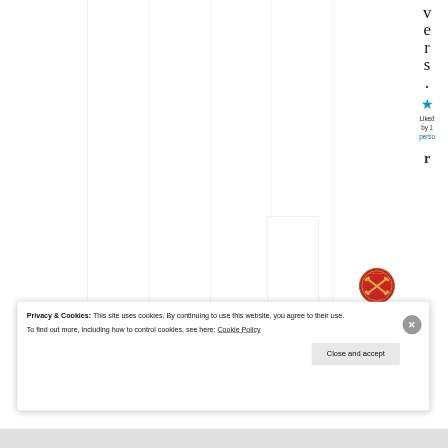[Figure (screenshot): Screenshot of a blog or website page showing vertical grid lines in the main content area, a right sidebar with large letters 'v', 'e', 'r', 's', '.' and a cyan star icon, 'Liked by 1 person' text, a bold 'r' character, and an artillery badge. A cookie consent banner overlays the bottom portion of the screen.]
Privacy & Cookies: This site uses cookies. By continuing to use this website, you agree to their use.
To find out more, including how to control cookies, see here: Cookie Policy
Close and accept